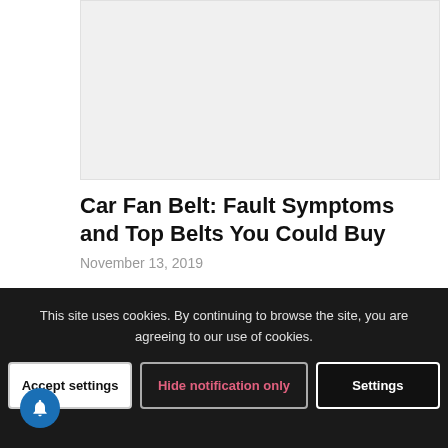[Figure (photo): Article thumbnail image placeholder (light gray rectangle)]
Car Fan Belt: Fault Symptoms and Top Belts You Could Buy
November 13, 2019
The car fan belt is an essential part of a car engine and requires…
This site uses cookies. By continuing to browse the site, you are agreeing to our use of cookies.
Accept settings | Hide notification only | Settings